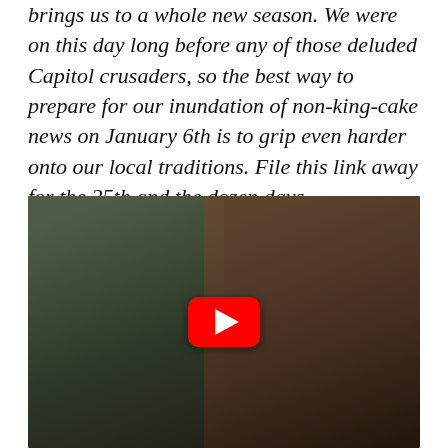brings us to a whole new season. We were on this day long before any of those deluded Capitol crusaders, so the best way to prepare for our inundation of non-king-cake news on January 6th is to grip even harder onto our local traditions. File this link away for the 25th and the dozen days.
[Figure (screenshot): YouTube video thumbnail showing a group of people outdoors/at a doorstep, with a red YouTube play button overlay in the center.]